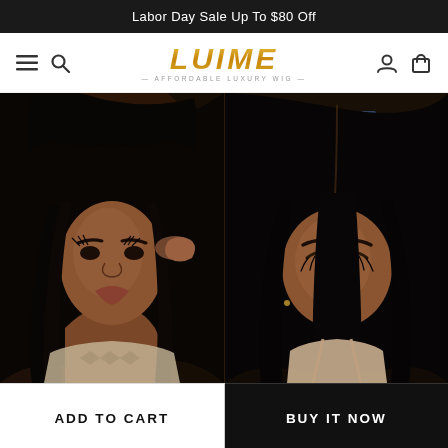Labor Day Sale Up To $80 Off
[Figure (logo): LUIME - Affordable Luxury Wig logo with golden gradient lettering]
[Figure (photo): Two side-by-side photos of women wearing straight black lace front wigs. Left photo shows a woman facing the camera with long straight black hair. Right photo shows a woman looking down with straight black hair parted in the middle.]
ADD TO CART
BUY IT NOW